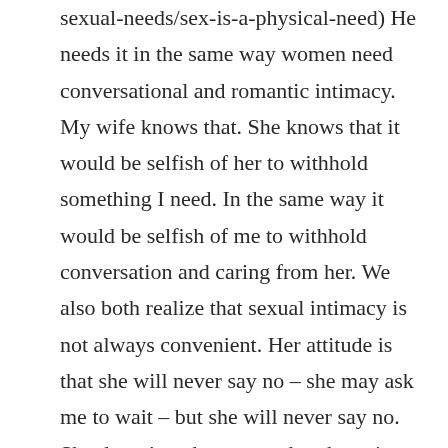sexual-needs/sex-is-a-physical-need) He needs it in the same way women need conversational and romantic intimacy. My wife knows that. She knows that it would be selfish of her to withhold something I need. In the same way it would be selfish of me to withhold conversation and caring from her. We also both realize that sexual intimacy is not always convenient. Her attitude is that she will never say no – she may ask me to wait – but she will never say no. She doesn't make my needs subservient to